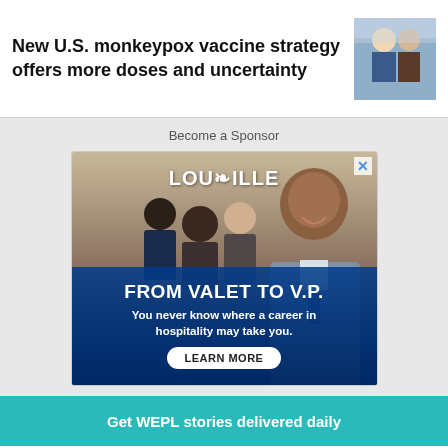New U.S. monkeypox vaccine strategy offers more doses and uncertainty
[Figure (photo): Thumbnail photo of people at a table]
Become a Sponsor
[Figure (photo): Louisville advertisement: FROM VALET TO V.P. You never know where a career in hospitality may take you. LEARN MORE]
Get WEPL stories delivered daily